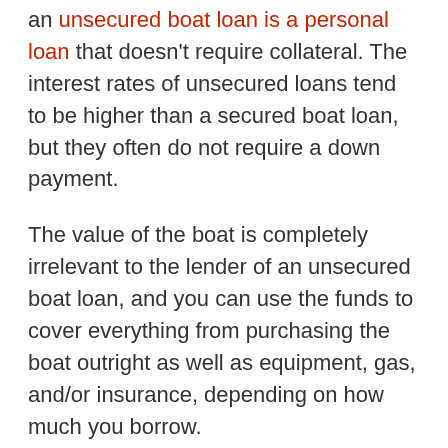such as banks and financial institutions, an unsecured boat loan is a personal loan that doesn't require collateral. The interest rates of unsecured loans tend to be higher than a secured boat loan, but they often do not require a down payment.
The value of the boat is completely irrelevant to the lender of an unsecured boat loan, and you can use the funds to cover everything from purchasing the boat outright as well as equipment, gas, and/or insurance, depending on how much you borrow.
However, a boat loan comes at a risk for